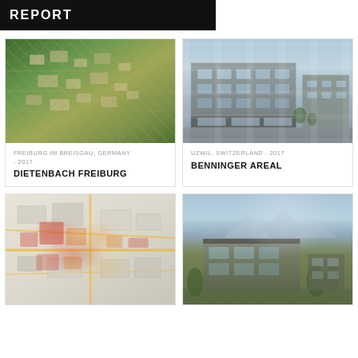REPORT
[Figure (photo): Aerial view of Dietenbach Freiburg urban development area with green forests and residential blocks]
FREIBURG IM BREISGAU, GERMANY - 2017
DIETENBACH FREIBURG
[Figure (photo): Architectural rendering of Benninger Areal building in Uzwil, Switzerland - modern glass and concrete facade]
UZWIL, SWITZERLAND - 2017
BENNINGER AREAL
[Figure (illustration): Urban planning map with isometric view showing city blocks, roads highlighted in red and orange]
[Figure (photo): Rendering of residential building complex with mountain backdrop and garden landscaping]